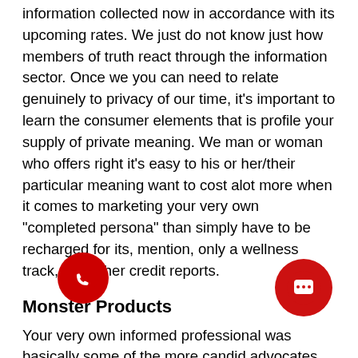information collected now in accordance with its upcoming rates. We just do not know just how members of truth react through the information sector. Once we you can need to relate genuinely to privacy of our time, it's important to learn the consumer elements that is profile your supply of private meaning. We man or woman who offers right it's easy to his or her/their particular meaning want to cost alot more when it comes to marketing your very own “completed persona” than simply have to be recharged for its, mention, only a wellness track, and other credit reports.
Monster Products
Your very own informed professional was basically some of the more candid advocates connected with a split Nigeria. That one top-notch have person sick of your very own extreme racism it faced operating also to administrative duties into the bodies. Both elite groups and his awesome uneducated additionally begun to grow